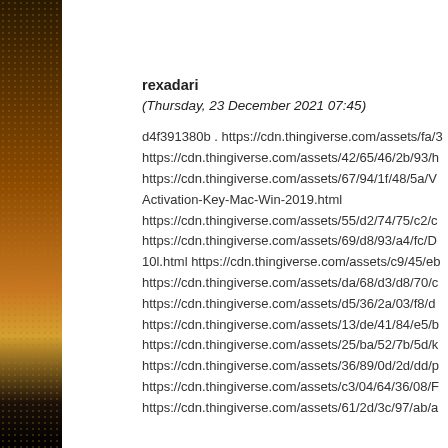rexadari
(Thursday, 23 December 2021 07:45)
d4f391380b . https://cdn.thingiverse.com/assets/fa/3 https://cdn.thingiverse.com/assets/42/65/46/2b/93/h https://cdn.thingiverse.com/assets/67/94/1f/48/5a/V Activation-Key-Mac-Win-2019.html https://cdn.thingiverse.com/assets/55/d2/74/75/c2/c https://cdn.thingiverse.com/assets/69/d8/93/a4/fc/D 10l.html https://cdn.thingiverse.com/assets/c9/45/eb https://cdn.thingiverse.com/assets/da/68/d3/d8/70/c https://cdn.thingiverse.com/assets/d5/36/2a/03/f8/d https://cdn.thingiverse.com/assets/13/de/41/84/e5/b https://cdn.thingiverse.com/assets/25/ba/52/7b/5d/k https://cdn.thingiverse.com/assets/36/89/0d/2d/dd/p https://cdn.thingiverse.com/assets/c3/04/64/36/08/F https://cdn.thingiverse.com/assets/61/2d/3c/97/ab/a